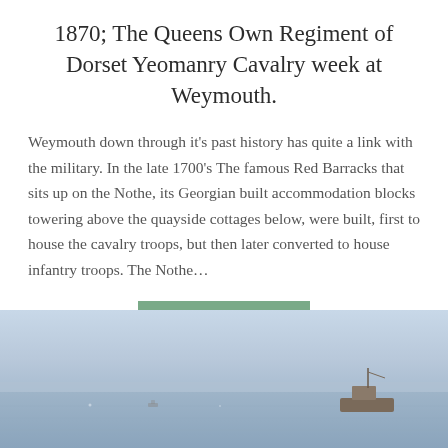1870; The Queens Own Regiment of Dorset Yeomanry Cavalry week at Weymouth.
Weymouth down through it's past history has quite a link with the military. In the late 1700's The famous Red Barracks that sits up on the Nothe, its Georgian built accommodation blocks towering above the quayside cottages below, were built, first to house the cavalry troops, but then later converted to house infantry troops. The Nothe…
[Figure (other): A muted blue-grey seascape photograph showing calm water with a fishing or cargo vessel near the right side of the frame, and a faint horizon line blending into hazy sky.]